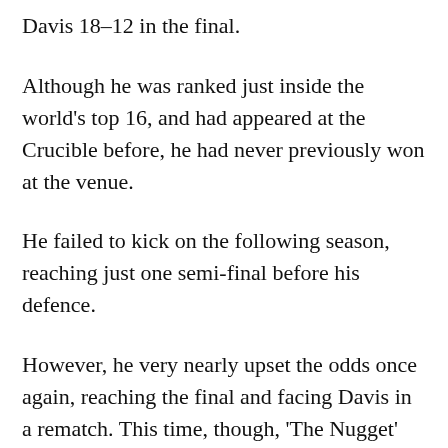Davis 18–12 in the final.
Although he was ranked just inside the world's top 16, and had appeared at the Crucible before, he had never previously won at the venue.
He failed to kick on the following season, reaching just one semi-final before his defence.
However, he very nearly upset the odds once again, reaching the final and facing Davis in a rematch. This time, though, 'The Nugget' would get his revenge in a reverse 18–14 victory.